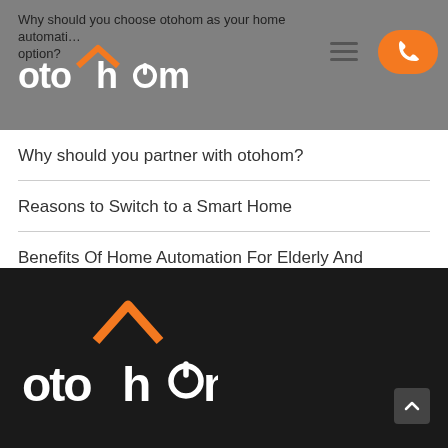Why should you choose otohom as your home automation option?
Why should you partner with otohom?
Reasons to Switch to a Smart Home
Benefits Of Home Automation For Elderly And Disabled
Recent Comments
[Figure (logo): otohom logo in white on dark footer background]